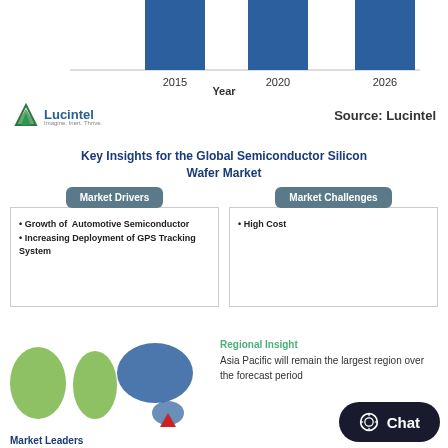[Figure (bar-chart): Semiconductor Silicon Wafer Market]
[Figure (logo): Lucintel logo with tagline]
Source: Lucintel
Key Insights for the Global Semiconductor Silicon Wafer Market
Market Drivers
Growth of Automotive Semiconductor
Increasing Deployment of GPS Tracking System
Market Challenges
High Cost
[Figure (map): World map highlighting Asia Pacific region in blue and other regions in green]
Market Leaders
Regional Insight
Asia Pacific will remain the largest region over the forecast period